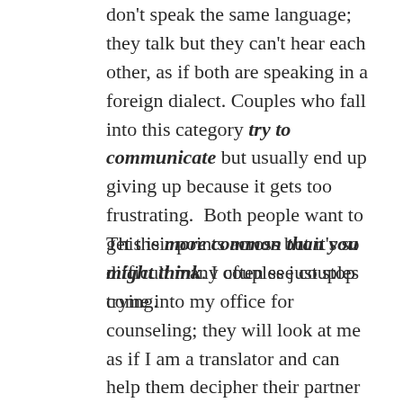don't speak the same language; they talk but they can't hear each other, as if both are speaking in a foreign dialect. Couples who fall into this category try to communicate but usually end up giving up because it gets too frustrating.  Both people want to get their points across but it's so difficult many couples just stop trying.
This is more common than you might think. I often see couples come into my office for counseling; they will look at me as if I am a translator and can help them decipher their partner and help them understand each other.  They both hope that I can bridge the gap that's been keeping them separate, sometimes for a long time.